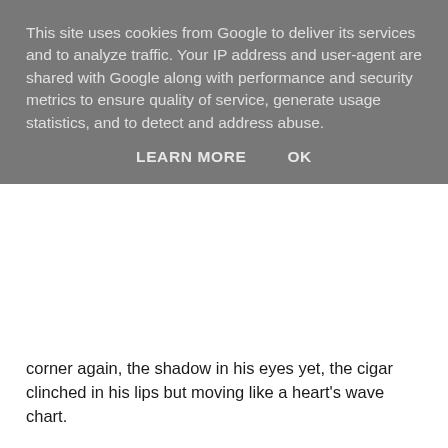This site uses cookies from Google to deliver its services and to analyze traffic. Your IP address and user-agent are shared with Google along with performance and security metrics to ensure quality of service, generate usage statistics, and to detect and address abuse.
LEARN MORE    OK
corner again, the shadow in his eyes yet, the cigar clinched in his lips but moving like a heart's wave chart.
Been out with a pal of mine a couple of times. Jack Kilrain. He was with me the night I lost my wallet.
Jake, shortly thereafter and unknown to Bobo, bird-dogged Jack Kilrain on a few odd occasions. On one such trip Jake came across a steely-eyed acquaintance of Kilrain's that spooked him. The pair didn't match up, not in age or clothes or manners. A profile artist, he knew, would never put the two together in a hundred years, yet here they were, swinging their feet over the sea wall at Kings Beach